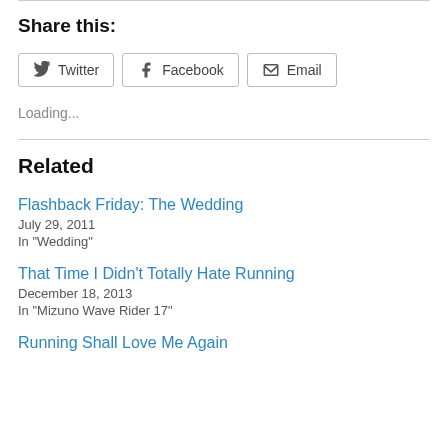Share this:
Twitter  Facebook  Email
Loading...
Related
Flashback Friday: The Wedding
July 29, 2011
In "Wedding"
That Time I Didn't Totally Hate Running
December 18, 2013
In "Mizuno Wave Rider 17"
Running Shall Love Me Again